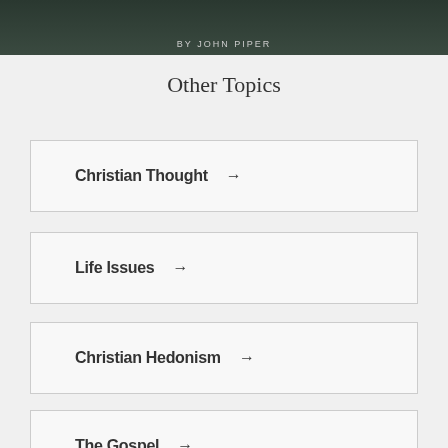[Figure (photo): Dark green/teal book cover background with text 'BY JOHN PIPER' in light gray letters at the top]
Other Topics
Christian Thought →
Life Issues →
Christian Hedonism →
The Gospel →